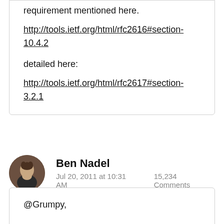requirement mentioned here:
http://tools.ietf.org/html/rfc2616#section-10.4.2
detailed here:
http://tools.ietf.org/html/rfc2617#section-3.2.1
Ben Nadel
Jul 20, 2011 at 10:31 AM    15,234 Comments
@Grumpy,

Hmm, very interesting. I had not heard that